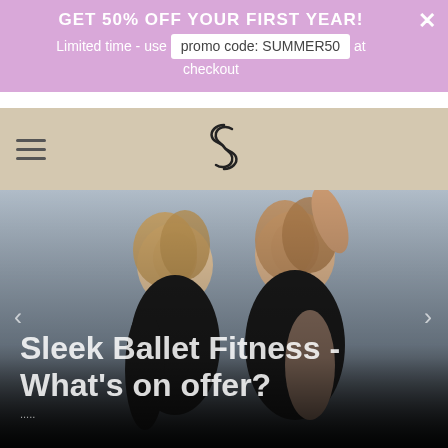GET 50% OFF YOUR FIRST YEAR! Limited time - use promo code: SUMMER50 at checkout
[Figure (logo): Sleek Ballet Fitness logo - stylized S/infinity symbol in black on tan background]
[Figure (photo): Two smiling blonde women in black athletic wear posing against light blue background, with dark gradient overlay at bottom]
Sleek Ballet Fitness - What's on offer?